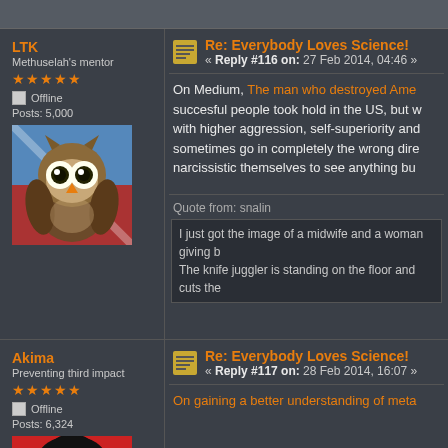LTK
Methuselah's mentor
★★★★★
Offline
Posts: 5,000
[Figure (illustration): Cartoon owl avatar with large eyes on colorful background]
Re: Everybody Loves Science!
« Reply #116 on: 27 Feb 2014, 04:46 »
On Medium, The man who destroyed Ame... succesful people took hold in the US, but w... with higher aggression, self-superiority and... sometimes go in completely the wrong dire... narcissistic themselves to see anything bu...
Quote from: snalin
I just got the image of a midwife and a woman giving b... The knife juggler is standing on the floor and cuts the...
Akima
Preventing third impact
★★★★★
Offline
Posts: 6,324
[Figure (illustration): Cartoon woman avatar with black hair on red background]
Re: Everybody Loves Science!
« Reply #117 on: 28 Feb 2014, 16:07 »
On gaining a better understanding of meta...